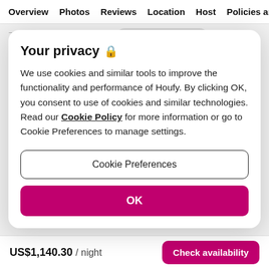Overview  Photos  Reviews  Location  Host  Policies and
7  8  9  10  11  12  13    4  5  6  7  8  9  10
Your privacy 🔒
We use cookies and similar tools to improve the functionality and performance of Houfy. By clicking OK, you consent to use of cookies and similar technologies. Read our Cookie Policy for more information or go to Cookie Preferences to manage settings.
Cookie Preferences
OK
US$1,140.30 / night
Check availability